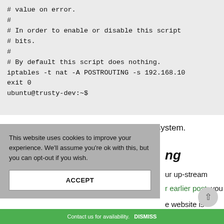# value on error.
#
# In order to enable or disable this script
# bits.
#
# By default this script does nothing.
iptables -t nat -A POSTROUTING -s 192.168.10
exit 0
ubuntu@trusty-dev:~$
Thats it! Now you have to to reboot the system.
ng
ur up-stream
r earlier post, you
e website is inaccurate.
This website uses cookies to improve your experience. We'll assume you're ok with this, but you can opt-out if you wish.
ACCEPT
Contact us for availability.  DISMISS